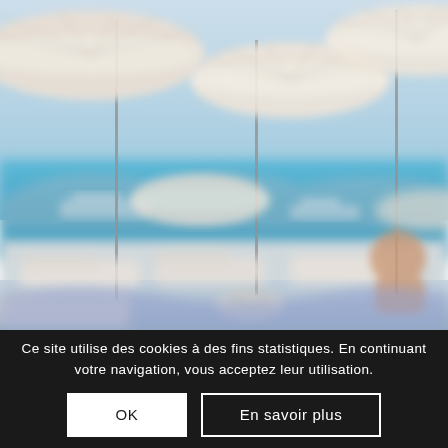[Figure (photo): A blurred beach scene showing white sun umbrellas, lounge chairs, blue sea water with yachts in the background, and people relaxing. Soft natural light with pastel tones.]
Ce site utilise des cookies à des fins statistiques. En continuant votre navigation, vous acceptez leur utilisation.